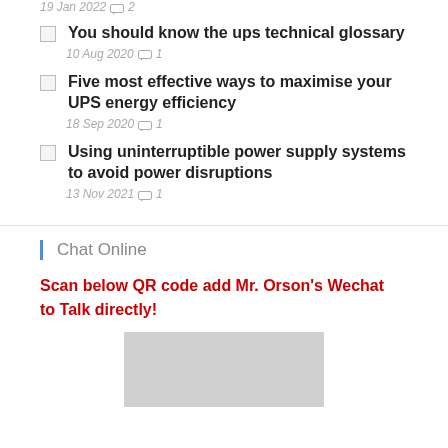19 Jan 2022  2
You should know the ups technical glossary
10 Aug 2020  1
Five most effective ways to maximise your UPS energy efficiency
18 Sep 2020  1
Using uninterruptible power supply systems to avoid power disruptions
13 Nov 2021  1
Chat Online
Scan below QR code add Mr. Orson's Wechat to Talk directly!
[Figure (other): QR code placeholder image (gray rectangle)]